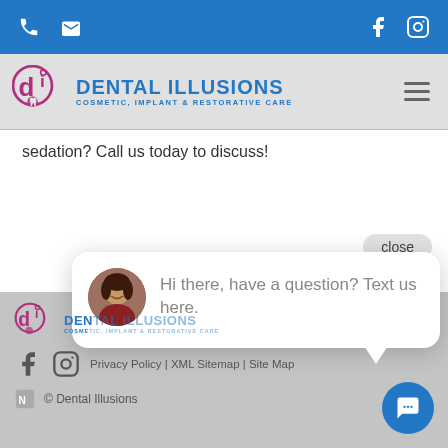Phone | Email | Facebook | Instagram
[Figure (logo): Dental Illusions logo with DI icon and text: DENTAL ILLUSIONS, COSMETIC, IMPLANT & RESTORATIVE CARE]
sedation? Call us today to discuss!
close
[Figure (photo): Chat widget with avatar photo of smiling woman in red top, and text: Hi there, have a question? Text us here.]
Hi there, have a question? Text us here.
[Figure (logo): Dental Illusions footer logo with DI icon]
Privacy Policy | XML Sitemap | Site Map
© Dental Illusions
[Figure (other): Blue circular chat FAB button with speech bubble icon]